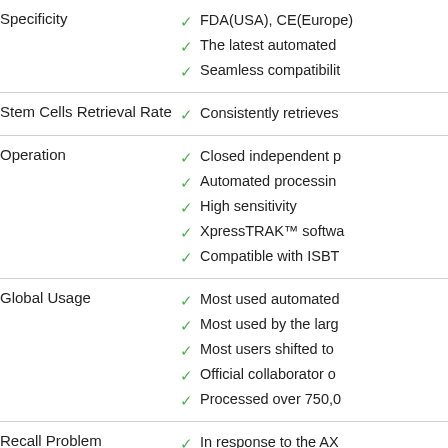| Feature | Details |
| --- | --- |
| Specificity | FDA(USA), CE(Europe)...
The latest automated...
Seamless compatibilit... |
| Stem Cells Retrieval Rate | Consistently retrieves... |
| Operation | Closed independent p...
Automated processin...
High sensitivity
XpressTRAK™ softwa...
Compatible with ISBT... |
| Global Usage | Most used automated...
Most used by the larg...
Most users shifted to...
Official collaborator o...
Processed over 750,0... |
| Recall Problem | In response to the AX... |